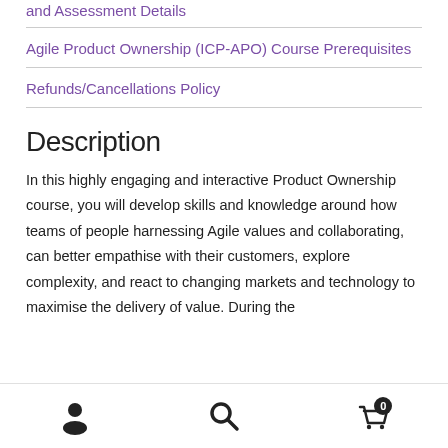and Assessment Details
Agile Product Ownership (ICP-APO) Course Prerequisites
Refunds/Cancellations Policy
Description
In this highly engaging and interactive Product Ownership course, you will develop skills and knowledge around how teams of people harnessing Agile values and collaborating, can better empathise with their customers, explore complexity, and react to changing markets and technology to maximise the delivery of value. During the
Navigation bar with user, search, and cart icons (cart count: 0)